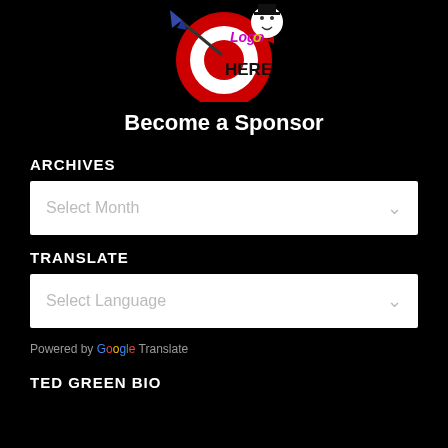[Figure (logo): Circular logo placeholder with a target/bullseye design, dart, clown figure, and colorful 'Logo HERE' text in the center]
Become a Sponsor
ARCHIVES
Select Month (dropdown)
TRANSLATE
Select Language (dropdown)
Powered by Google Translate
TED GREEN BIO